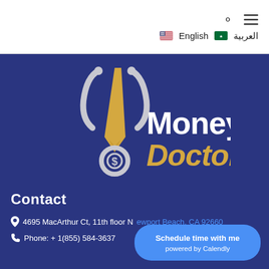English | العربية
[Figure (logo): Money Doctors logo: stethoscope with gold tie and dollar sign coin, white text 'Money' and gold text 'Doctors' on dark blue background]
Contact
4695 MacArthur Ct, 11th floor Newport Beach, CA 92660
Phone: + 1(855) 584-3637
Schedule time with me powered by Calendly